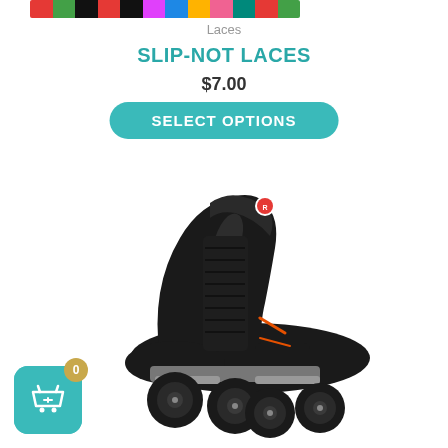[Figure (photo): Strip of colorful lace swatches at the top of the page]
Laces
SLIP-NOT LACES
$7.00
SELECT OPTIONS
[Figure (photo): Black roller skate with four wheels on white background]
[Figure (illustration): Teal cart button with gold badge showing 0 items]